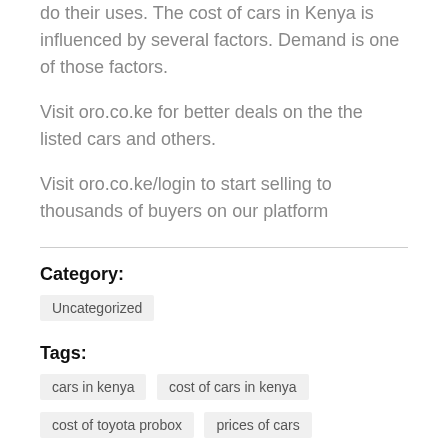do their uses. The cost of cars in Kenya is influenced by several factors. Demand is one of those factors.
Visit oro.co.ke for better deals on the the listed cars and others.
Visit oro.co.ke/login to start selling to thousands of buyers on our platform
Category:
Uncategorized
Tags:
cars in kenya
cost of cars in kenya
cost of toyota probox
prices of cars